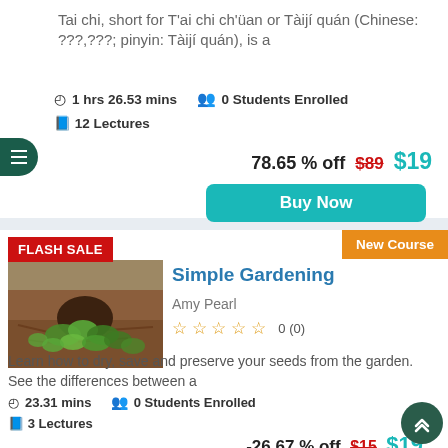Tai chi, short for T'ai chi ch'üan or Tàijí quán (Chinese: ???,???; pinyin: Tàijí quán), is a
⏱ 1 hrs 26.53 mins  👥 0 Students Enrolled
📖 12 Lectures
78.65 % off $89  $19
Buy Now
FLASH SALE
New Course
[Figure (photo): Photo of a garden with green plants growing in mulched soil]
Simple Gardening
Amy Pearl
☆ ☆ ☆ ☆ ☆  0 (0)
Learn how to dry, save and preserve your seeds from the garden. See the differences between a
⏱ 23.31 mins  👥 0 Students Enrolled
📖 3 Lectures
-26.67 % off $15  $19